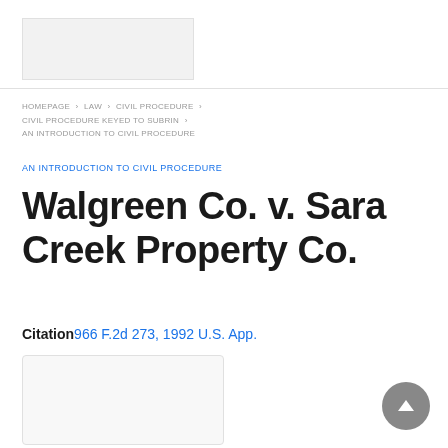[Figure (other): Top banner/logo placeholder image]
HOMEPAGE > LAW > CIVIL PROCEDURE > CIVIL PROCEDURE KEYED TO SUBRIN > AN INTRODUCTION TO CIVIL PROCEDURE
AN INTRODUCTION TO CIVIL PROCEDURE
Walgreen Co. v. Sara Creek Property Co.
Citation 966 F.2d 273, 1992 U.S. App.
[Figure (other): Bottom content placeholder box]